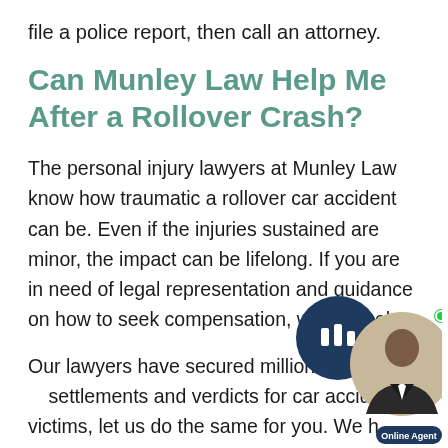file a police report, then call an attorney.
Can Munley Law Help Me After a Rollover Crash?
The personal injury lawyers at Munley Law know how traumatic a rollover car accident can be. Even if the injuries sustained are minor, the impact can be lifelong. If you are in need of legal representation and guidance on how to seek compensation, we can help.
Our lawyers have secured millions of dollars in settlements and verdicts for car accident victims, let us do the same for you. We have
[Figure (illustration): Online chat agent widget showing a chat bubble icon on dark navy background and a photo of a man in suit, with green online indicator dot and 'Online Agent' badge]